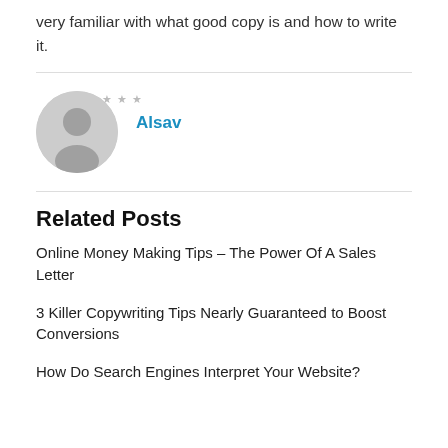very familiar with what good copy is and how to write it.
[Figure (illustration): Circular avatar placeholder icon showing a generic person silhouette in gray]
Alsav
Related Posts
Online Money Making Tips – The Power Of A Sales Letter
3 Killer Copywriting Tips Nearly Guaranteed to Boost Conversions
How Do Search Engines Interpret Your Website?